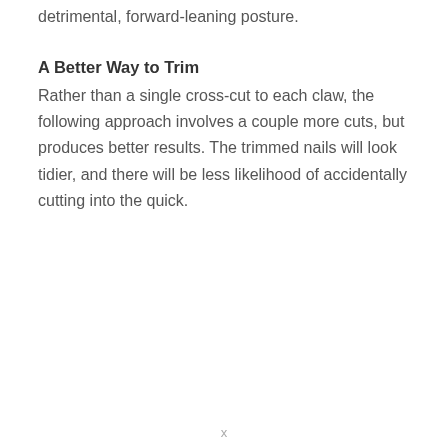detrimental, forward-leaning posture.
A Better Way to Trim
Rather than a single cross-cut to each claw, the following approach involves a couple more cuts, but produces better results. The trimmed nails will look tidier, and there will be less likelihood of accidentally cutting into the quick.
x